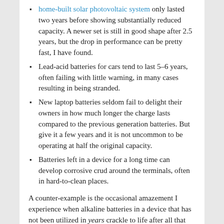home-built solar photovoltaic system only lasted two years before showing substantially reduced capacity. A newer set is still in good shape after 2.5 years, but the drop in performance can be pretty fast, I have found.
Lead-acid batteries for cars tend to last 5–6 years, often failing with little warning, in many cases resulting in being stranded.
New laptop batteries seldom fail to delight their owners in how much longer the charge lasts compared to the previous generation batteries. But give it a few years and it is not uncommon to be operating at half the original capacity.
Batteries left in a device for a long time can develop corrosive crud around the terminals, often in hard-to-clean places.
A counter-example is the occasional amazement I experience when alkaline batteries in a device that has not been utilized in years crackle to life after all that time—if the batteries haven't gooped themselves up, that is.